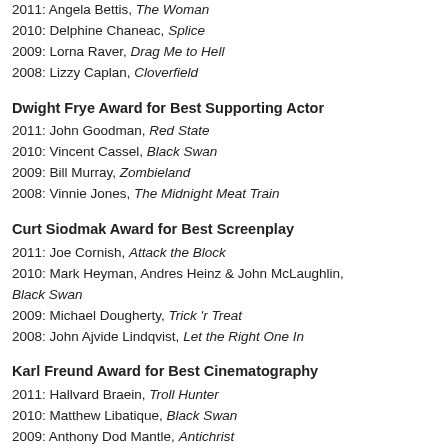2011: Angela Bettis, The Woman
2010: Delphine Chaneac, Splice
2009: Lorna Raver, Drag Me to Hell
2008: Lizzy Caplan, Cloverfield
Dwight Frye Award for Best Supporting Actor
2011: John Goodman, Red State
2010: Vincent Cassel, Black Swan
2009: Bill Murray, Zombieland
2008: Vinnie Jones, The Midnight Meat Train
Curt Siodmak Award for Best Screenplay
2011: Joe Cornish, Attack the Block
2010: Mark Heyman, Andres Heinz & John McLaughlin, Black Swan
2009: Michael Dougherty, Trick 'r Treat
2008: John Ajvide Lindqvist, Let the Right One In
Karl Freund Award for Best Cinematography
2011: Hallvard Braein, Troll Hunter
2010: Matthew Libatique, Black Swan
2009: Anthony Dod Mantle, Antichrist
2008: Hoyte Van Hoytema, Let the Right One In